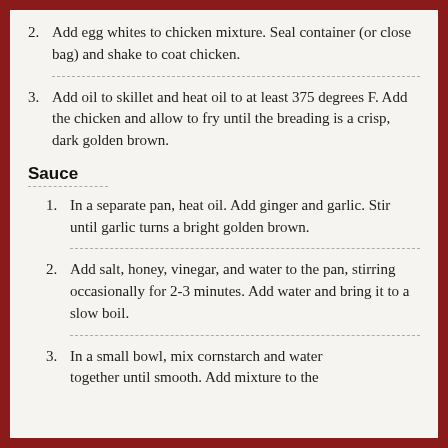2. Add egg whites to chicken mixture. Seal container (or close bag) and shake to coat chicken.
3. Add oil to skillet and heat oil to at least 375 degrees F. Add the chicken and allow to fry until the breading is a crisp, dark golden brown.
Sauce
1. In a separate pan, heat oil. Add ginger and garlic. Stir until garlic turns a bright golden brown.
2. Add salt, honey, vinegar, and water to the pan, stirring occasionally for 2-3 minutes. Add water and bring it to a slow boil.
3. In a small bowl, mix cornstarch and water together until smooth. Add mixture to the…